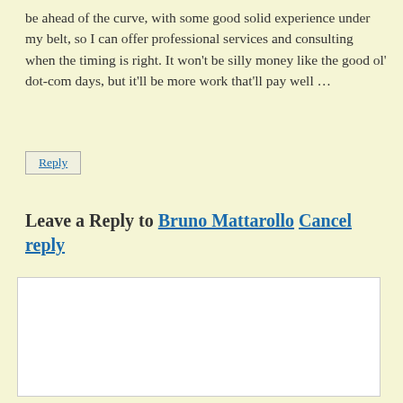be ahead of the curve, with some good solid experience under my belt, so I can offer professional services and consulting when the timing is right. It won't be silly money like the good ol' dot-com days, but it'll be more work that'll pay well …
Reply
Leave a Reply to Bruno Mattarollo Cancel reply
[Figure (other): Empty comment text area input box]